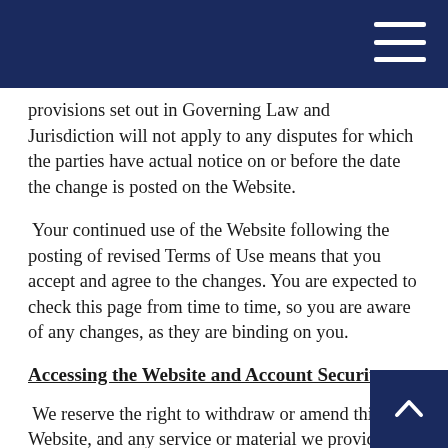provisions set out in Governing Law and Jurisdiction will not apply to any disputes for which the parties have actual notice on or before the date the change is posted on the Website.
Your continued use of the Website following the posting of revised Terms of Use means that you accept and agree to the changes. You are expected to check this page from time to time, so you are aware of any changes, as they are binding on you.
Accessing the Website and Account Security
We reserve the right to withdraw or amend this Website, and any service or material we provide on the Website, in our sole discretion without notice. We